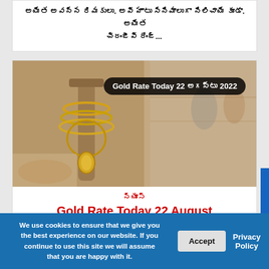అయిత అవన్న రిమకులు. అవి హాటు సినిమాలుగా నిలిచాయి కూడా. అయిత చిరంజీవి రేంజ్...
[Figure (photo): Gold jewelry display at a store with gold necklaces on stands. Overlay badge reads: Gold Rate Today 22 అగస్టు 2022]
న్యూస్
Gold Rate Today 22 August 2022: పది గ్రాముల బంగారు ధరలు
We use cookies to ensure that we give you the best experience on our website. If you continue to use this site we will assume that you are happy with it.
Accept
Privacy Policy